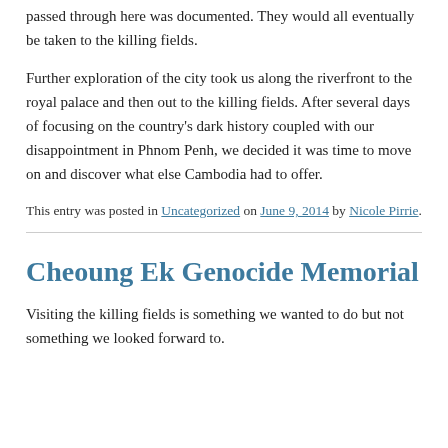passed through here was documented. They would all eventually be taken to the killing fields.
Further exploration of the city took us along the riverfront to the royal palace and then out to the killing fields. After several days of focusing on the country's dark history coupled with our disappointment in Phnom Penh, we decided it was time to move on and discover what else Cambodia had to offer.
This entry was posted in Uncategorized on June 9, 2014 by Nicole Pirrie.
Cheoung Ek Genocide Memorial
Visiting the killing fields is something we wanted to do but not something we looked forward to.